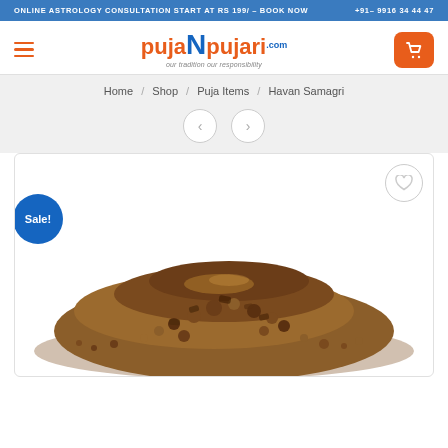ONLINE ASTROLOGY CONSULTATION START AT RS 199/ – BOOK NOW   +91- 9916 34 44 47
[Figure (logo): pujaNpujari.com logo with tagline 'our tradition our responsibility']
Home / Shop / Puja Items / Havan Samagri
[Figure (photo): Product photo of Havan Samagri (dried herbal mixture, brownish granules) with Sale! badge and wishlist heart button]